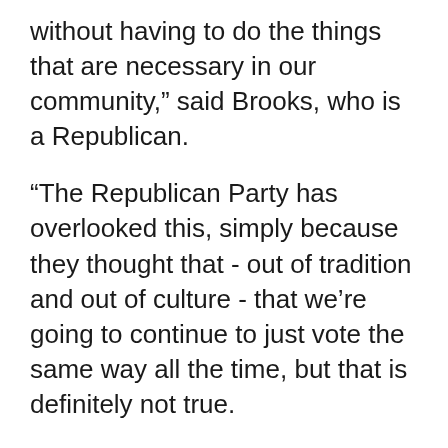without having to do the things that are necessary in our community,” said Brooks, who is a Republican.
“The Republican Party has overlooked this, simply because they thought that - out of tradition and out of culture - that we’re going to continue to just vote the same way all the time, but that is definitely not true.
“And if the Republican Party would be so kind to reach out, I’m sure that they will find a group of people who are interested in their policies and their practices,” Brooks said.